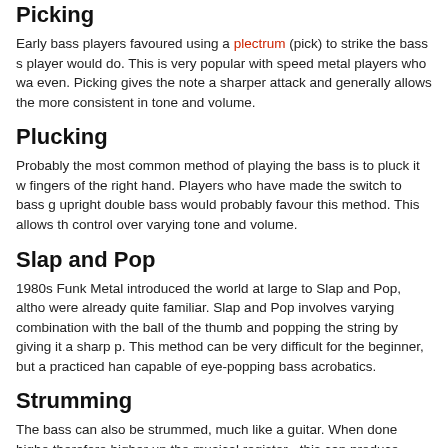Picking
Early bass players favoured using a plectrum (pick) to strike the bass s… player would do. This is very popular with speed metal players who wa… even. Picking gives the note a sharper attack and generally allows the… more consistent in tone and volume.
Plucking
Probably the most common method of playing the bass is to pluck it w… fingers of the right hand. Players who have made the switch to bass g… upright double bass would probably favour this method. This allows th… control over varying tone and volume.
Slap and Pop
1980s Funk Metal introduced the world at large to Slap and Pop, altho… were already quite familiar. Slap and Pop involves varying combination… with the ball of the thumb and popping the string by giving it a sharp p… This method can be very difficult for the beginner, but a practiced han… capable of eye-popping bass acrobatics.
Strumming
The bass can also be strummed, much like a guitar. When done highe… therefore higher up the musical register - this can produce some lovely… neck (lower down the register), strumming can get a little muddy, but it…